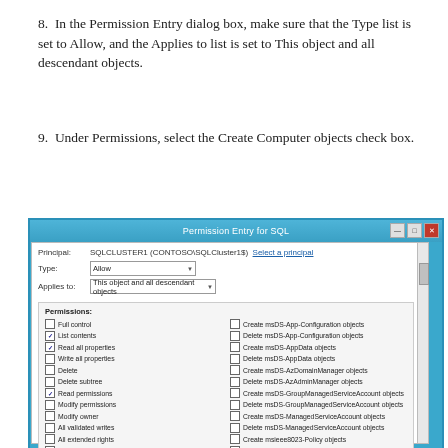8. In the Permission Entry dialog box, make sure that the Type list is set to Allow, and the Applies to list is set to This object and all descendant objects.
9. Under Permissions, select the Create Computer objects check box.
[Figure (screenshot): Permission Entry for SQL dialog box showing Principal: SQLCLUSTER1 (CONTOSO\SQLCluster1$), Type: Allow, Applies to: This object and all descendant objects, with a Permissions section listing various checkboxes including checked List contents, Read all properties, Read permissions, and Create Computer objects.]